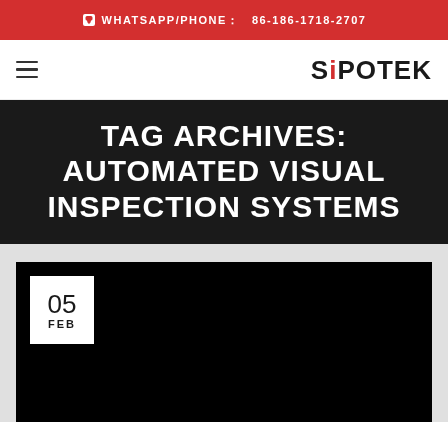WHATSAPP/PHONE: 86-186-1718-2707
[Figure (logo): SiPOTEK company logo in black with red 'i' letter]
TAG ARCHIVES: AUTOMATED VISUAL INSPECTION SYSTEMS
05 FEB
[Figure (photo): Dark/black article thumbnail image]